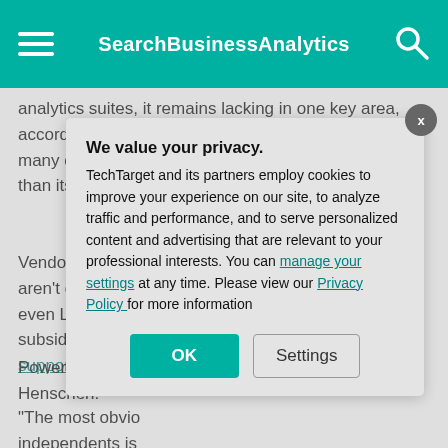SearchBusinessAnalytics
analytics suites, it remains lacking in one key area, according to Henschen: Power BI does not match many of its competitors in its support for clouds other than its own Microsoft Azure.
Vendors such as [partially obscured] aren't owned by [partially obscured] even Looker and [partially obscured] subsidiaries of G[partially obscured] support multiple [partially obscured]
Power BI, howe[partially obscured] Henschen.
"The most obvi[partially obscured] independents is [partially obscured] BI can certainly [partially obscured]
[Figure (screenshot): Privacy consent modal dialog with title 'We value your privacy.' and body text about TechTarget cookies, with OK and Settings buttons]